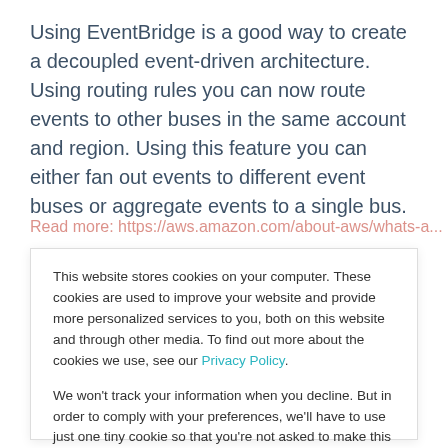Using EventBridge is a good way to create a decoupled event-driven architecture. Using routing rules you can now route events to other buses in the same account and region. Using this feature you can either fan out events to different event buses or aggregate events to a single bus.
Read more: https://aws.amazon.com/about-aws/whats-a...
This website stores cookies on your computer. These cookies are used to improve your website and provide more personalized services to you, both on this website and through other media. To find out more about the cookies we use, see our Privacy Policy.
We won't track your information when you decline. But in order to comply with your preferences, we'll have to use just one tiny cookie so that you're not asked to make this choice again.